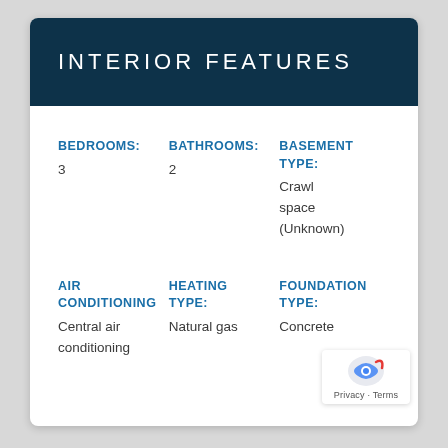INTERIOR FEATURES
| BEDROOMS: | BATHROOMS: | BASEMENT TYPE: |
| --- | --- | --- |
| 3 | 2 | Crawl space (Unknown) |
| AIR CONDITIONING | HEATING TYPE: | FOUNDATION TYPE: |
| --- | --- | --- |
| Central air conditioning | Natural gas | Concrete |